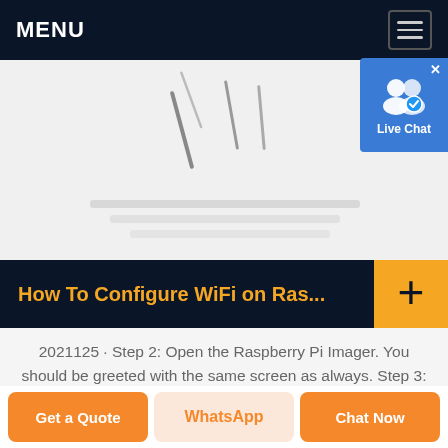MENU
[Figure (screenshot): Website screenshot showing a top navigation bar with MENU text and hamburger icon, a hero image area showing partial background photo, a live chat bubble in top right corner, an accordion section titled 'How To Configure WiFi on Ras...', body text about Raspberry Pi WiFi configuration steps, and bottom action buttons: Get a Quote, WhatsApp, Chat Now.]
How To Configure WiFi on Ras...
2021125 · Step 2: Open the Raspberry Pi Imager. You should be greeted with the same screen as always. Step 3: Press Ctrl + Shift + x to open the advanced menu ( CMD + Shift + x for Mac OSX). Step 4: Scroll down to Configure
Get a Quote
WhatsApp
Chat Now